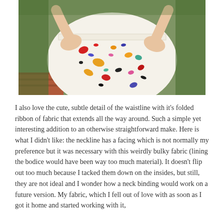[Figure (photo): Close-up photo of a woman wearing a white dress with colorful confetti/terrazzo pattern spots in red, yellow, black, blue, green, pink, and orange. Her hands are on her hips showing the waistline detail with a folded ribbon of fabric. Background shows green hedges and a brick ledge.]
I also love the cute, subtle detail of the waistline with it's folded ribbon of fabric that extends all the way around. Such a simple yet interesting addition to an otherwise straightforward make. Here is what I didn't like: the neckline has a facing which is not normally my preference but it was necessary with this weirdly bulky fabric (lining the bodice would have been way too much material). It doesn't flip out too much because I tacked them down on the insides, but still, they are not ideal and I wonder how a neck binding would work on a future version. My fabric, which I fell out of love with as soon as I got it home and started working with it,